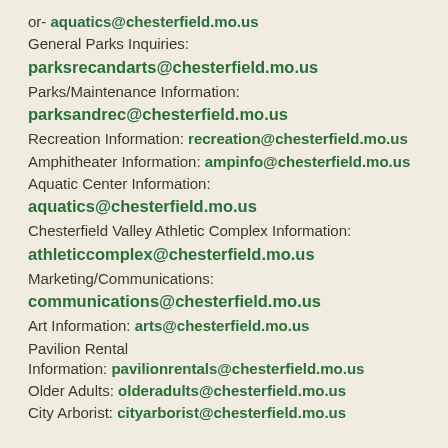or- aquatics@chesterfield.mo.us
General Parks Inquiries:
parksrecandarts@chesterfield.mo.us
Parks/Maintenance Information:
parksandrec@chesterfield.mo.us
Recreation Information: recreation@chesterfield.mo.us
Amphitheater Information: ampinfo@chesterfield.mo.us
Aquatic Center Information:
aquatics@chesterfield.mo.us
Chesterfield Valley Athletic Complex Information:
athleticcomplex@chesterfield.mo.us
Marketing/Communications:
communications@chesterfield.mo.us
Art Information: arts@chesterfield.mo.us
Pavilion Rental
Information: pavilionrentals@chesterfield.mo.us
Older Adults: olderadults@chesterfield.mo.us
City Arborist: cityarborist@chesterfield.mo.us